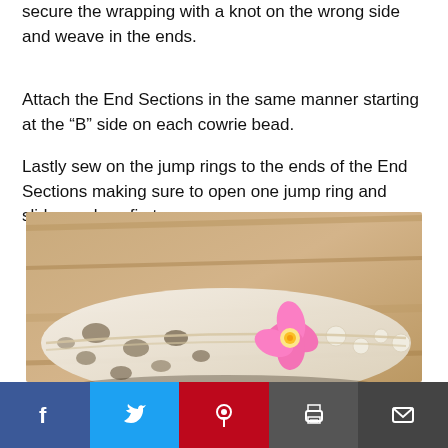secure the wrapping with a knot on the wrong side and weave in the ends.
Attach the End Sections in the same manner starting at the “B” side on each cowrie bead.
Lastly sew on the jump rings to the ends of the End Sections making sure to open one jump ring and slide on clasp first.
[Figure (photo): Close-up photo of a cowrie shell bracelet with a pink plumeria flower charm, laid on a wooden surface.]
Social share bar: Facebook, Twitter, Pinterest, Print, Email